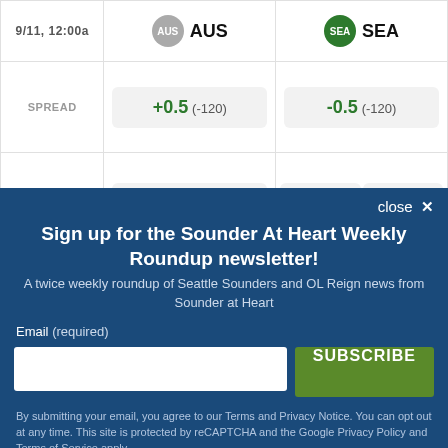|  | AUS | SEA |
| --- | --- | --- |
| SPREAD | +0.5  (-120) | -0.5  (-120) |
| MONEY LINE | +255 | +275 / -115 |
close ×
Sign up for the Sounder At Heart Weekly Roundup newsletter!
A twice weekly roundup of Seattle Sounders and OL Reign news from Sounder at Heart
Email (required)
SUBSCRIBE
By submitting your email, you agree to our Terms and Privacy Notice. You can opt out at any time. This site is protected by reCAPTCHA and the Google Privacy Policy and Terms of Service apply.